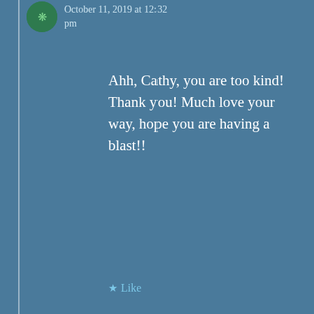October 11, 2019 at 12:32 pm
Ahh, Cathy, you are too kind! Thank you! Much love your way, hope you are having a blast!!
Like
Reply
peggyjoan42
October 11, 2019 at 5:55 am
I find that the Robins are not this